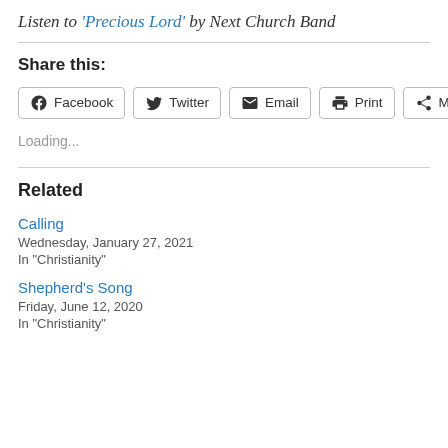Listen to 'Precious Lord' by Next Church Band
Share this:
Facebook  Twitter  Email  Print  More
Loading...
Related
Calling
Wednesday, January 27, 2021
In "Christianity"
Shepherd's Song
Friday, June 12, 2020
In "Christianity"